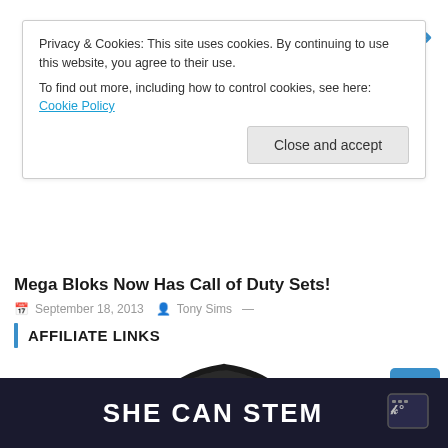Privacy & Cookies: This site uses cookies. By continuing to use this website, you agree to their use.
To find out more, including how to control cookies, see here: Cookie Policy
Close and accept
Mega Bloks Now Has Call of Duty Sets!
September 18, 2013  Tony Sims —
AFFILIATE LINKS
[Figure (photo): Close-up photo of a black gaming/military style headset with perforated headband and carbon fiber-like texture, shown from above on a white background.]
[Figure (logo): SHE CAN STEM logo banner — dark background with bold white uppercase text 'SHE CAN STEM' and a small logo icon on the right.]